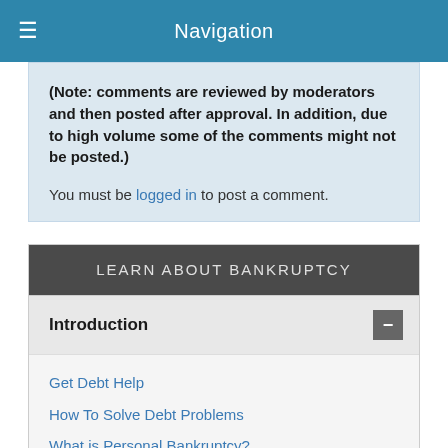Navigation
(Note: comments are reviewed by moderators and then posted after approval. In addition, due to high volume some of the comments might not be posted.)

You must be logged in to post a comment.
LEARN ABOUT BANKRUPTCY
Introduction
Get Debt Help
How To Solve Debt Problems
What is Personal Bankruptcy?
How Bankruptcies Work